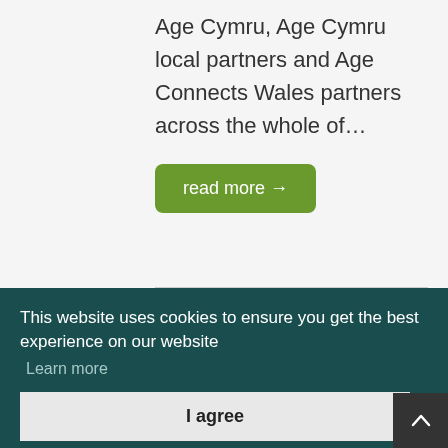Age Cymru, Age Cymru local partners and Age Connects Wales partners across the whole of…
read more →
This website uses cookies to ensure you get the best experience on our website
Learn more
I agree